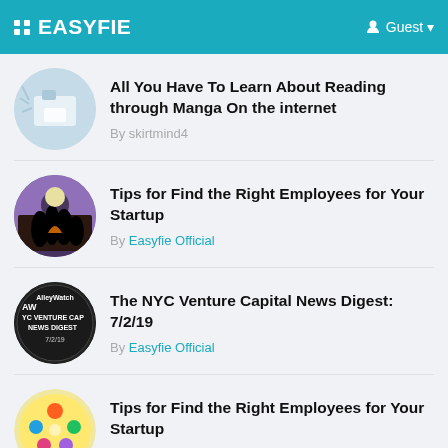EASYFIE | Guest
All You Have To Learn About Reading through Manga On the internet
By skirtmind4
Tips for Find the Right Employees for Your Startup
By Easyfie Official
The NYC Venture Capital News Digest: 7/2/19
By Easyfie Official
Tips for Find the Right Employees for Your Startup
By Easyfie Official